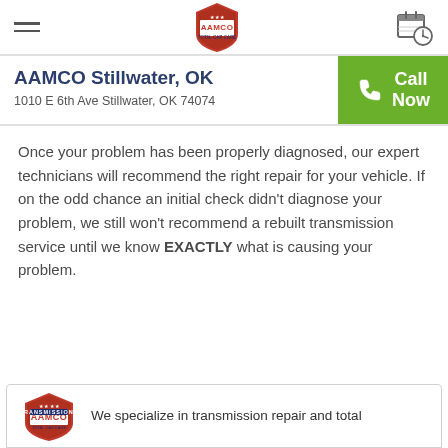AAMCO navigation header with hamburger menu, AAMCO logo, and calendar/schedule icon
AAMCO Stillwater, OK
1010 E 6th Ave Stillwater, OK 74074
Call Now
Once your problem has been properly diagnosed, our expert technicians will recommend the right repair for your vehicle. If on the odd chance an initial check didn't diagnose your problem, we still won't recommend a rebuilt transmission service until we know EXACTLY what is causing your problem.
We specialize in transmission repair and total